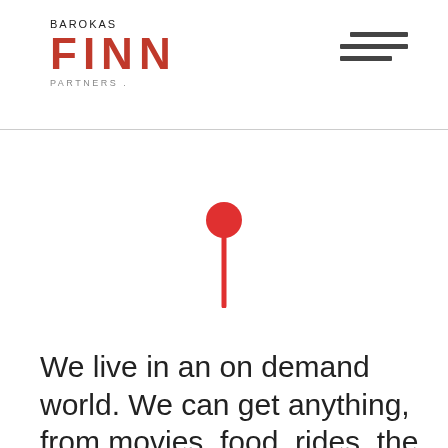BAROKAS FINN PARTNERS
[Figure (illustration): A red map pin/location marker icon centered on a white background]
We live in an on demand world. We can get anything, from movies, food, rides, the kitchen sink—even the guy that fixes the kitchen sink, right?